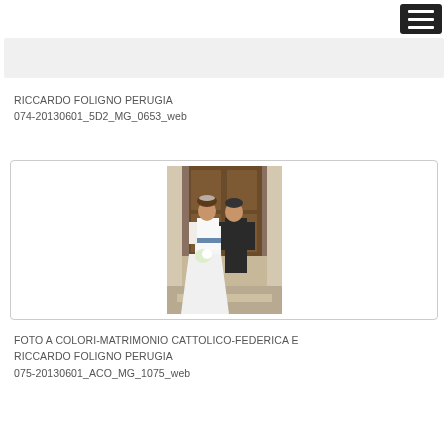RICCARDO FOLIGNO PERUGIA
074-20130601_5D2_MG_0653_web
[Figure (photo): Wedding photo showing a bride in white dress and groom in dark suit standing in front of a wooden door entrance. The bride is holding flowers. Photo is displayed centered within a rounded rectangle border.]
FOTO A COLORI-MATRIMONIO CATTOLICO-FEDERICA E RICCARDO FOLIGNO PERUGIA
075-20130601_ACO_MG_1075_web